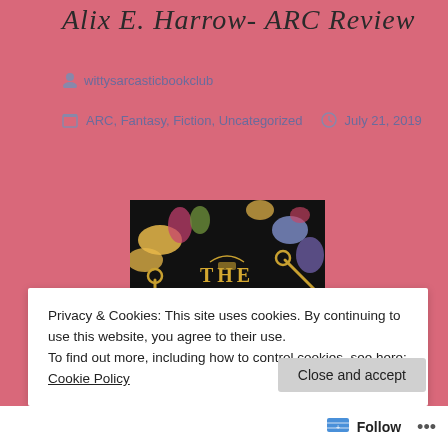Alix E. Harrow- ARC Review
wittysarcasticbookclub
ARC, Fantasy, Fiction, Uncategorized   July 21, 2019
[Figure (photo): Book cover of 'The Ten' by Alix E. Harrow showing a dark floral background with golden keys and flowers, with large white and gold text reading THE TEN]
Privacy & Cookies: This site uses cookies. By continuing to use this website, you agree to their use.
To find out more, including how to control cookies, see here: Cookie Policy
Close and accept
Follow